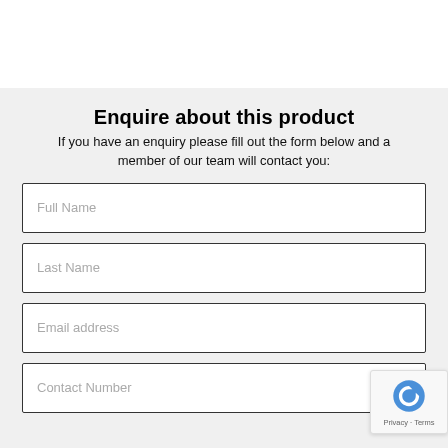Enquire about this product
If you have an enquiry please fill out the form below and a member of our team will contact you:
Full Name
Last Name
Email address
Contact Number